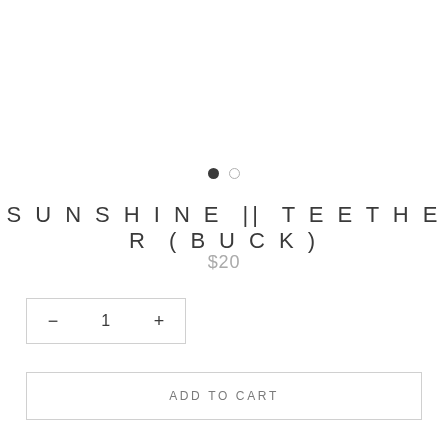[Figure (other): Carousel dot indicators: one filled dark circle and one empty circle outline]
SUNSHINE || TEETHER (BUCK)
$20
− 1 +
ADD TO CART